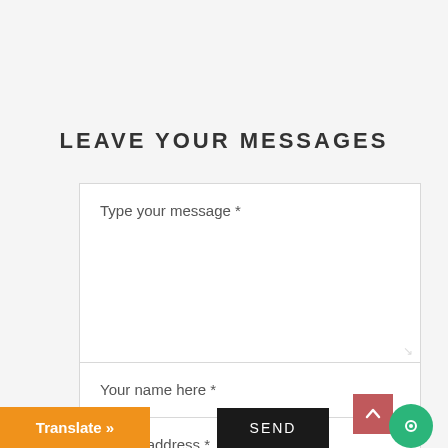LEAVE YOUR MESSAGES
Type your message *
Your name here *
E-mail address *
Translate »
SEND